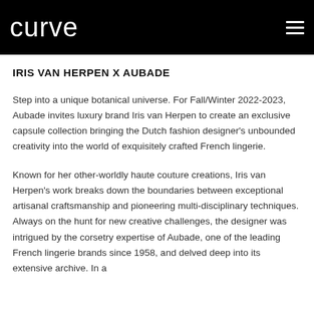curve
IRIS VAN HERPEN X AUBADE
Step into a unique botanical universe. For Fall/Winter 2022-2023, Aubade invites luxury brand Iris van Herpen to create an exclusive capsule collection bringing the Dutch fashion designer’s unbounded creativity into the world of exquisitely crafted French lingerie.
Known for her other-worldly haute couture creations, Iris van Herpen’s work breaks down the boundaries between exceptional artisanal craftsmanship and pioneering multi-disciplinary techniques. Always on the hunt for new creative challenges, the designer was intrigued by the corsetry expertise of Aubade, one of the leading French lingerie brands since 1958, and delved deep into its extensive archive. In a